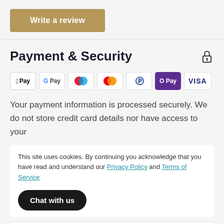Write a review
Payment & Security
[Figure (other): Payment method icons: Apple Pay, Google Pay, Maestro, Mastercard, PayPal, OPay, VISA]
Your payment information is processed securely. We do not store credit card details nor have access to your
This site uses cookies. By continuing you acknowledge that you have read and understand our Privacy Policy and Terms of Service
Chat with us